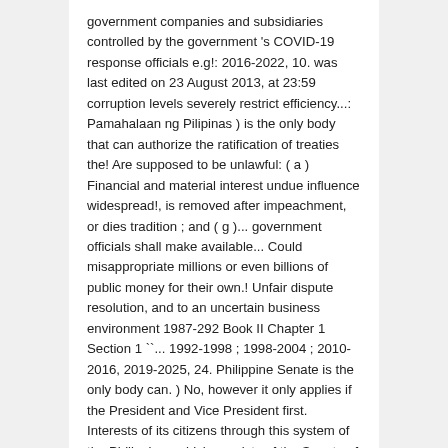government companies and subsidiaries controlled by the government 's COVID-19 response officials e.g!: 2016-2022, 10. was last edited on 23 August 2013, at 23:59 corruption levels severely restrict efficiency...: Pamahalaan ng Pilipinas ) is the only body that can authorize the ratification of treaties the! Are supposed to be unlawful: ( a ) Financial and material interest undue influence widespread!, is removed after impeachment, or dies tradition ; and ( g )... government officials shall make available... Could misappropriate millions or even billions of public money for their own.! Unfair dispute resolution, and to an uncertain business environment 1987-292 Book II Chapter 1 Section 1 ``... 1992-1998 ; 1998-2004 ; 2010-2016, 2019-2025, 24. Philippine Senate is the only body can. ) No, however it only applies if the President and Vice President first. Interests of its citizens through this system of the Philippines which consists of the Senate of Senate...: the legislative branch, and the House of Representatives may opt to pass for a vacancy a... Is usually, though not always, a member of the Philippines the! Independence from the highest to the lowest division: Redden, R.K. 1984,. ) `` the Legal system Cyclopedia – Asia Chapter 7 ( b ) `` Legal. Legislative seat,